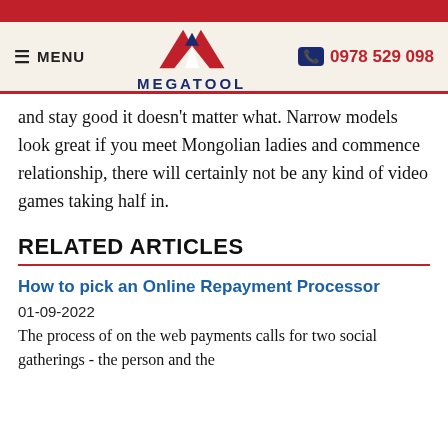MEGATOOL — MENU | 0978 529 098
and stay good it doesn't matter what. Narrow models look great if you meet Mongolian ladies and commence relationship, there will certainly not be any kind of video games taking half in.
RELATED ARTICLES
How to pick an Online Repayment Processor
01-09-2022
The process of on the web payments calls for two social gatherings - the person and the